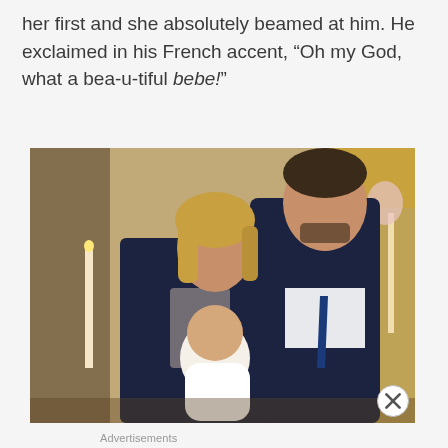her first and she absolutely beamed at him. He exclaimed in his French accent, “Oh my God, what a bea-u-tiful bebe!”
[Figure (photo): A couple standing in a church setting, smiling. The woman has blonde hair and is holding a baby dressed in white. The man is wearing a dark suit with a blue tie. Church altar and candles visible in background.]
Advertisements